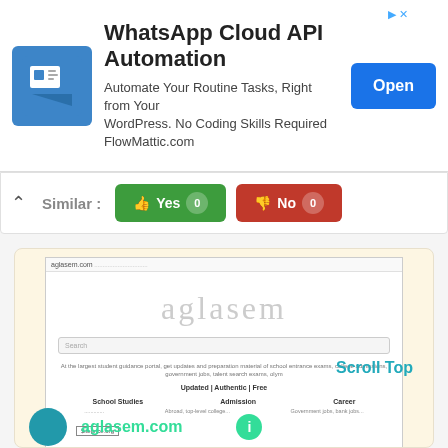[Figure (screenshot): WhatsApp Cloud API Automation advertisement banner with logo, description text, and Open button]
Similar : Yes 0 No 0
[Figure (screenshot): Screenshot of aglasem.com website showing logo, search bar, Updated | Authentic | Free tagline, and School Studies, Admission, Career categories. siteprice.org watermark visible.]
Scroll Top
Like 0
aglasem.com